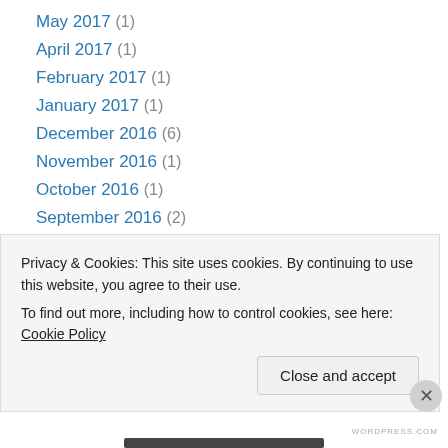May 2017 (1)
April 2017 (1)
February 2017 (1)
January 2017 (1)
December 2016 (6)
November 2016 (1)
October 2016 (1)
September 2016 (2)
August 2016 (2)
July 2016 (3)
June 2016 (1)
May 2016 (1)
April 2016 (7)
Privacy & Cookies: This site uses cookies. By continuing to use this website, you agree to their use.
To find out more, including how to control cookies, see here: Cookie Policy